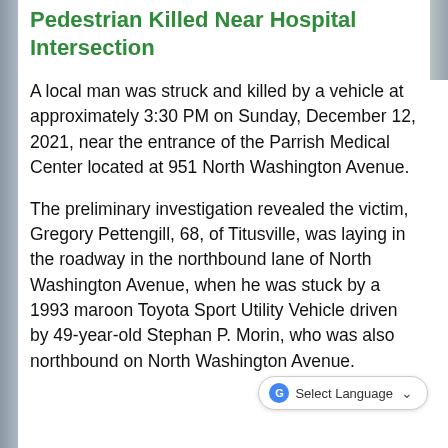Pedestrian Killed Near Hospital Intersection
A local man was struck and killed by a vehicle at approximately 3:30 PM on Sunday, December 12, 2021, near the entrance of the Parrish Medical Center located at 951 North Washington Avenue.
The preliminary investigation revealed the victim, Gregory Pettengill, 68, of Titusville, was laying in the roadway in the northbound lane of North Washington Avenue, when he was stuck by a 1993 maroon Toyota Sport Utility Vehicle driven by 49-year-old Stephan P. Morin, who was also northbound on North Washington Avenue.